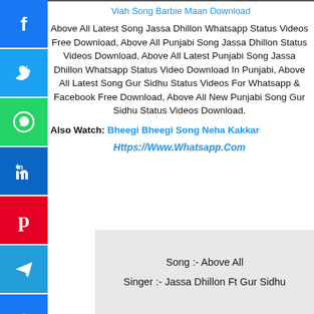Viah Song Barbie Maan Download
Above All Latest Song Jassa Dhillon Whatsapp Status Videos Free Download, Above All Punjabi Song Jassa Dhillon Status Videos Download, Above All Latest Punjabi Song Jassa Dhillon Whatsapp Status Video Download In Punjabi, Above All Latest Song Gur Sidhu Status Videos For Whatsapp & Facebook Free Download, Above All New Punjabi Song Gur Sidhu Status Videos Download.
Also Watch: Bheegi Bheegi Song Neha Kakkar
Https://Www.Whatsapp.Com
Song :- Above All
Singer :- Jassa Dhillon Ft Gur Sidhu